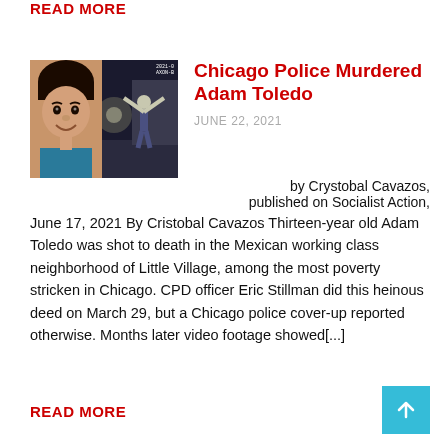READ MORE
[Figure (photo): Split image: left side shows a young boy smiling (Adam Toledo portrait), right side shows a bodycam still with a person with hands up in a dark alley, with an AXON badge watermark in the upper right]
Chicago Police Murdered Adam Toledo
JUNE 22, 2021
by Crystobal Cavazos, published on Socialist Action, June 17, 2021 By Cristobal Cavazos Thirteen-year old Adam Toledo was shot to death in the Mexican working class neighborhood of Little Village, among the most poverty stricken in Chicago. CPD officer Eric Stillman did this heinous deed on March 29, but a Chicago police cover-up reported otherwise. Months later video footage showed[...]
READ MORE